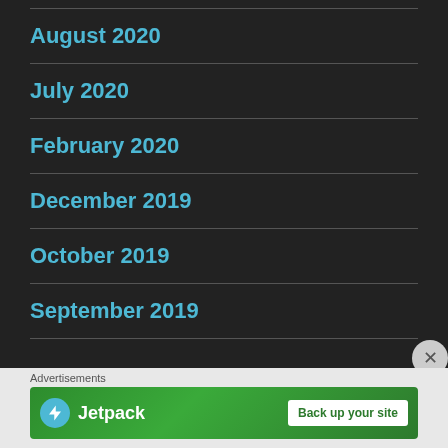August 2020
July 2020
February 2020
December 2019
October 2019
September 2019
Advertisements
[Figure (screenshot): Jetpack advertisement banner with logo and 'Back up your site' button on green background]